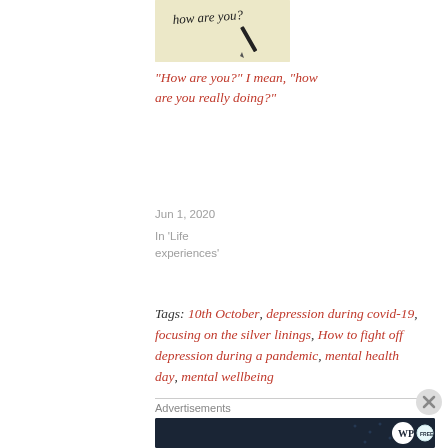[Figure (photo): Photo of a handwritten 'How are you?' note with a pen, on cream/yellow paper background]
“How are you?” I mean, “how are you really doing?”
Jun 1, 2020
In 'Life experiences'
Tags: 10th October, depression during covid-19, focusing on the silver linings, How to fight off depression during a pandemic, mental health day, mental wellbeing
Advertisements
[Figure (screenshot): Dark navy advertisement banner: 'Create surveys, polls, quizzes, and forms.' with WordPress and another logo.]